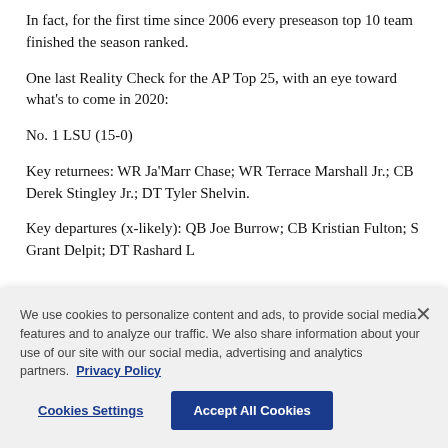In fact, for the first time since 2006 every preseason top 10 team finished the season ranked.
One last Reality Check for the AP Top 25, with an eye toward what’s to come in 2020:
No. 1 LSU (15-0)
Key returnees: WR Ja’Marr Chase; WR Terrace Marshall Jr.; CB Derek Stingley Jr.; DT Tyler Shelvin.
Key departures (x-likely): QB Joe Burrow; CB Kristian Fulton; S Grant Delpit; DT Rashard Lawrence
We use cookies to personalize content and ads, to provide social media features and to analyze our traffic. We also share information about your use of our site with our social media, advertising and analytics partners. Privacy Policy
Cookies Settings
Accept All Cookies